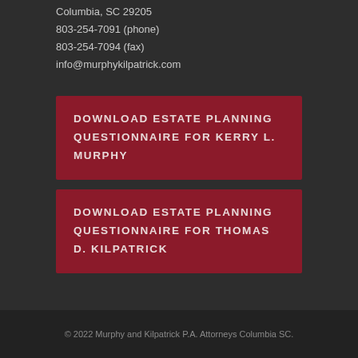Columbia, SC 29205
803-254-7091 (phone)
803-254-7094 (fax)
info@murphykilpatrick.com
DOWNLOAD ESTATE PLANNING QUESTIONNAIRE FOR KERRY L. MURPHY
DOWNLOAD ESTATE PLANNING QUESTIONNAIRE FOR THOMAS D. KILPATRICK
© 2022 Murphy and Kilpatrick P.A. Attorneys Columbia SC.